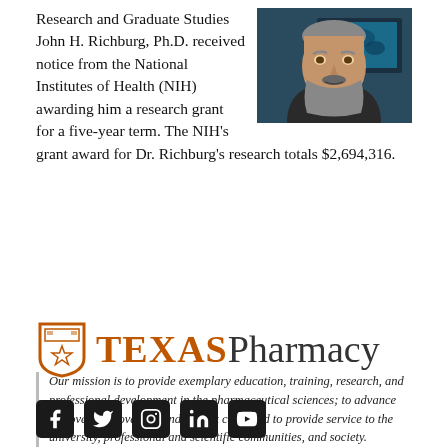Research and Graduate Studies John H. Richburg, Ph.D. received notice from the National Institutes of Health (NIH) awarding him a research grant for a five-year term. The NIH's grant award for Dr. Richburg's research totals $2,694,316.
[Figure (photo): Headshot photo of a middle-aged man with gray beard and mustache, wearing dark clothing, with laboratory equipment visible in the background.]
[Figure (logo): Texas Pharmacy logo: UT shield icon in orange followed by TEXAS in large orange bold serif text and Pharmacy in large dark gray serif text.]
Our mission is to provide exemplary education, training, research, and professional development in the pharmaceutical sciences; to advance discovery, innovation, and patient care; and to provide service to the university, professional and scientific communities, and society.
[Figure (infographic): Row of social media icons on dark square backgrounds: Facebook, Twitter, Instagram, LinkedIn, YouTube.]